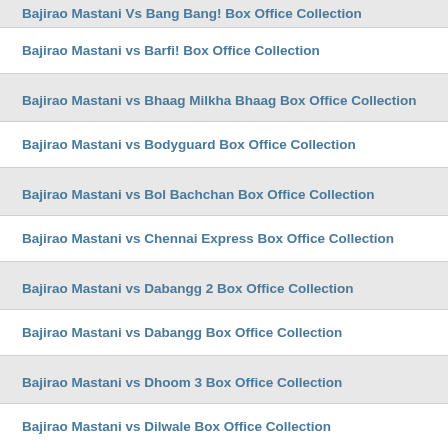Bajirao Mastani Vs Bang Bang! Box Office Collection
Bajirao Mastani vs Barfi! Box Office Collection
Bajirao Mastani vs Bhaag Milkha Bhaag Box Office Collection
Bajirao Mastani vs Bodyguard Box Office Collection
Bajirao Mastani vs Bol Bachchan Box Office Collection
Bajirao Mastani vs Chennai Express Box Office Collection
Bajirao Mastani vs Dabangg 2 Box Office Collection
Bajirao Mastani vs Dabangg Box Office Collection
Bajirao Mastani vs Dhoom 3 Box Office Collection
Bajirao Mastani vs Dilwale Box Office Collection